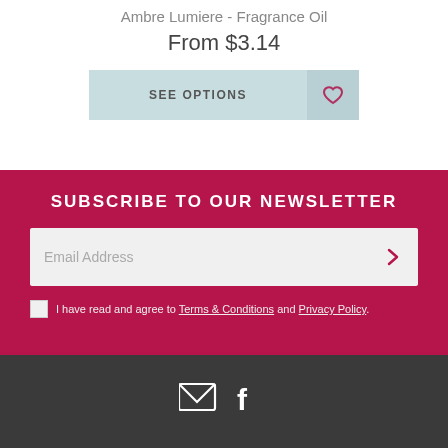Ambre Lumiere - Fragrance Oil
From $3.14
SEE OPTIONS
SUBSCRIBE TO OUR NEWSLETTER
Email Address
I have read and agree to Terms & Conditions and Privacy Policy.
[Figure (infographic): Email and Facebook social media icons in white on dark grey footer background]